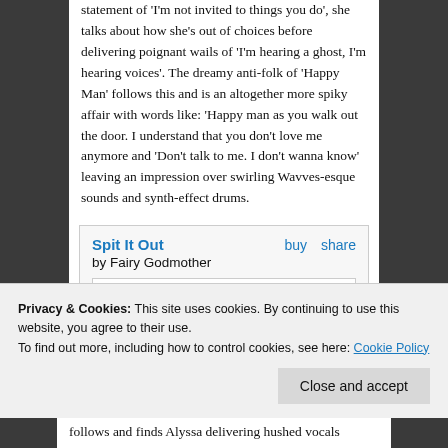statement of 'I'm not invited to things you do', she talks about how she's out of choices before delivering poignant wails of 'I'm hearing a ghost, I'm hearing voices'. The dreamy anti-folk of 'Happy Man' follows this and is an altogether more spiky affair with words like: 'Happy man as you walk out the door. I understand that you don't love me anymore and 'Don't talk to me. I don't wanna know' leaving an impression over swirling Wavves-esque sounds and synth-effect drums.
[Figure (other): Embedded Bandcamp music player widget for 'Spit It Out' by Fairy Godmother, showing track 4 'Take Me' at 00:00 / 02:15 with play button and navigation controls]
Privacy & Cookies: This site uses cookies. By continuing to use this website, you agree to their use. To find out more, including how to control cookies, see here: Cookie Policy
follows and finds Alyssa delivering hushed vocals